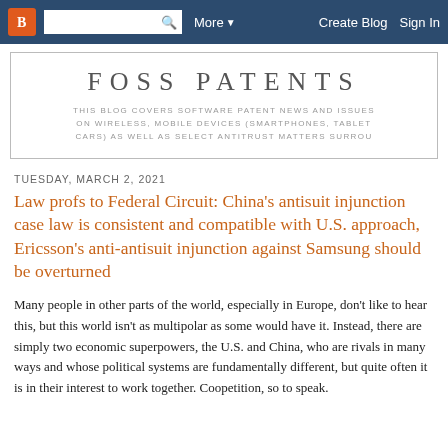Blogger navbar with search, More, Create Blog, Sign In
FOSS PATENTS
THIS BLOG COVERS SOFTWARE PATENT NEWS AND ISSUES ON WIRELESS, MOBILE DEVICES (SMARTPHONES, TABLET CARS) AS WELL AS SELECT ANTITRUST MATTERS SURROU
TUESDAY, MARCH 2, 2021
Law profs to Federal Circuit: China's antisuit injunction case law is consistent and compatible with U.S. approach, Ericsson's anti-antisuit injunction against Samsung should be overturned
Many people in other parts of the world, especially in Europe, don't like to hear this, but this world isn't as multipolar as some would have it. Instead, there are simply two economic superpowers, the U.S. and China, who are rivals in many ways and whose political systems are fundamentally different, but quite often it is in their interest to work together. Coopetition, so to speak.